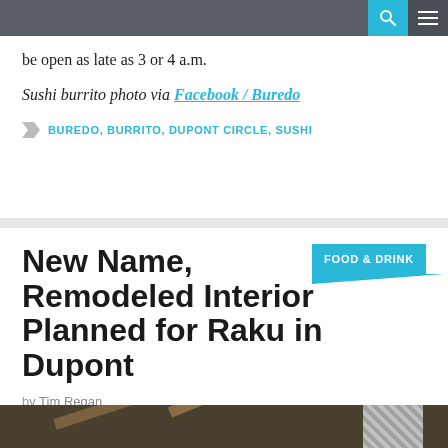be open as late as 3 or 4 a.m.
Sushi burrito photo via Facebook / Buredo
BUREDO, BURRITO, DUPONT CIRCLE, SUSHI
New Name, Remodeled Interior Planned for Raku in Dupont
FOOD & DRINK
by Tim Regan
January 11, 2016 at 12:30 pm
No Comments
[Figure (photo): Interior photo of a restaurant with wooden beams visible at the top]